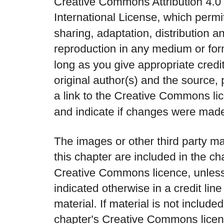Creative Commons Attribution 4.0 International License, which permits use, sharing, adaptation, distribution and reproduction in any medium or format, as long as you give appropriate credit to the original author(s) and the source, provide a link to the Creative Commons licence and indicate if changes were made.
The images or other third party material in this chapter are included in the chapter's Creative Commons licence, unless indicated otherwise in a credit line to the material. If material is not included in the chapter's Creative Commons licence and...